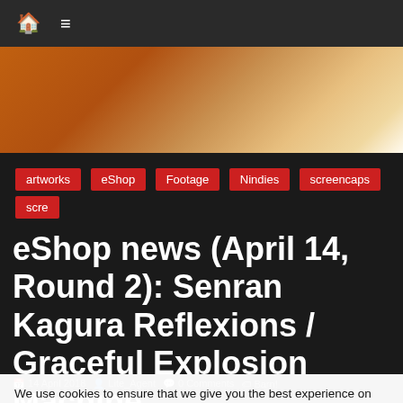🏠 ☰
[Figure (screenshot): Anime-style scene showing a classroom or restaurant interior with chairs and tables under warm orange/amber lighting, with a partial figure on the right side.]
artworks  eShop  Footage  Nindies  screencaps  screenshots  Switch  Trailers
eShop news (April 14, Round 2): Senran Kagura Reflexions / Graceful Explosion Machine
14 April 2018  Lite_Agent  0 Comments  Barn! Harber...  Explosion Machine,  Kid Ko...  ERiMedia,  Ninja Striker,  Q-Cumber Factory,  Rem...  Senran Kagura Reflexions,  Vertex Pop,  Vocal Shot for Nintendo Switch,  /SEED
We use cookies to ensure that we give you the best experience on our website. If you continue to use this site we will assume that you are happy with it.
I understand  Privacy policy